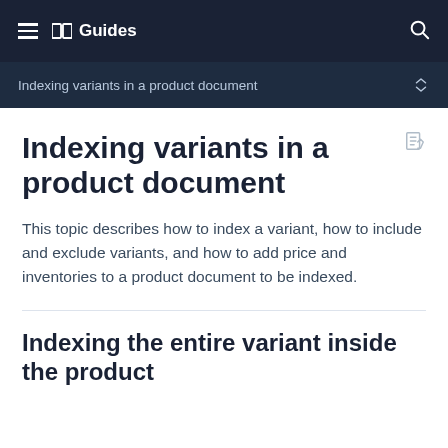Guides
Indexing variants in a product document
Indexing variants in a product document
This topic describes how to index a variant, how to include and exclude variants, and how to add price and inventories to a product document to be indexed.
Indexing the entire variant inside the product